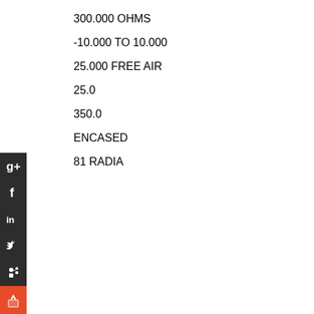300.000 OHMS
-10.000 TO 10.000
25.000 FREE AIR
25.0
350.0
ENCASED
81 RADIA
[Figure (infographic): Vertical stack of social media icon buttons: Google+, Facebook, LinkedIn, Twitter, a person/network icon, and an orange share/bookmark button, all on dark background except the last which is orange.]